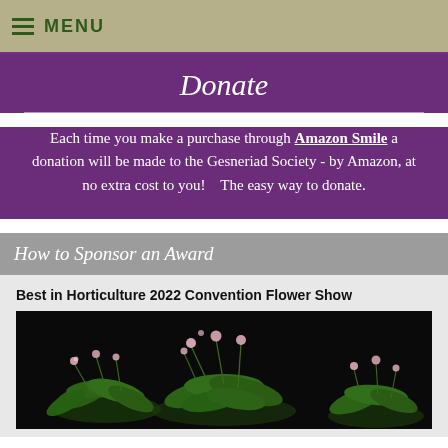≡ MENU
Donate
Each time you make a purchase through Amazon Smile a donation will be made to the Gesneriad Society - by Amazon, at no extra cost to you!    The easy way to donate.
How to Sponsor an Award
Best in Horticulture 2022 Convention Flower Show
[Figure (photo): Photo of flowering plants with pink flowers on dark/black background, shown as Best in Horticulture 2022 Convention Flower Show entry]